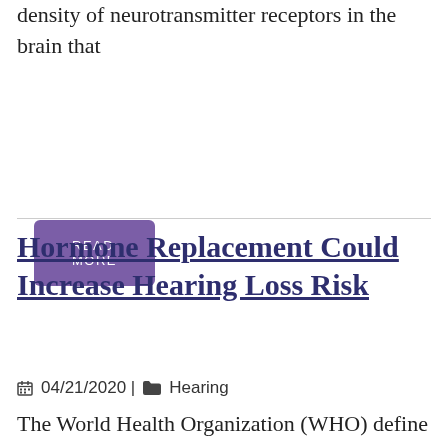density of neurotransmitter receptors in the brain that
READ MORE
Hormone Replacement Could Increase Hearing Loss Risk
04/21/2020 | Hearing
The World Health Organization (WHO) define hearing loss as the inability to hear sounds of 25 decibels or under in speech. This often leads to